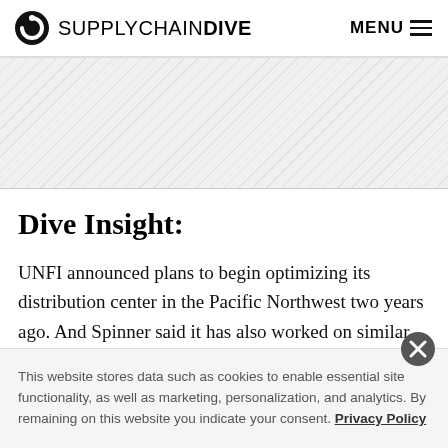SUPPLY CHAIN DIVE — MENU
[Figure (other): Hatched gray advertisement placeholder area]
Dive Insight:
UNFI announced plans to begin optimizing its distribution center in the Pacific Northwest two years ago. And Spinner said it has also worked on similar
This website stores data such as cookies to enable essential site functionality, as well as marketing, personalization, and analytics. By remaining on this website you indicate your consent. Privacy Policy